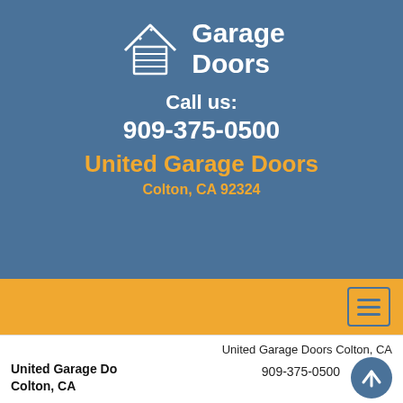[Figure (logo): Garage door icon: house outline with garage door panels, white line art on blue background]
Garage Doors
Call us:
909-375-0500
United Garage Doors
Colton, CA 92324
[Figure (other): Hamburger menu button icon on orange navigation bar]
United Garage Doors Colton, CA
909-375-0500
United Garage Do
Colton, CA
[Figure (other): Up arrow button, circular, blue background]